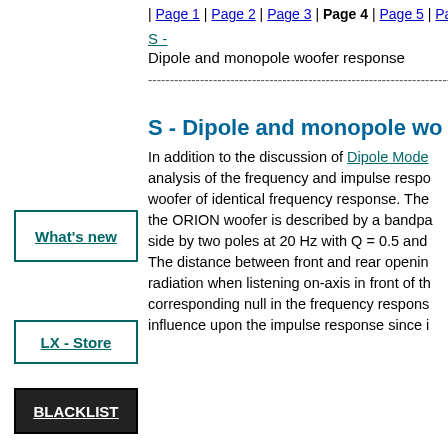| Page 1 | Page 2 | Page 3 | Page 4 | Page 5 | Page 6
S - Dipole and monopole woofer response
------------------------------------------------------------
S - Dipole and monopole woofer response
[Figure (other): What's new button - teal border box with link text]
In addition to the discussion of Dipole Mode analysis of the frequency and impulse response of a woofer of identical frequency response. The ORION woofer is described by a bandpass side by two poles at 20 Hz with Q = 0.5 and The distance between front and rear opening radiation when listening on-axis in front of the corresponding null in the frequency response influence upon the impulse response since i
[Figure (other): LX - Store button - teal border box with link text]
[Figure (other): BLACKLIST button - black background box with white bold underlined text]